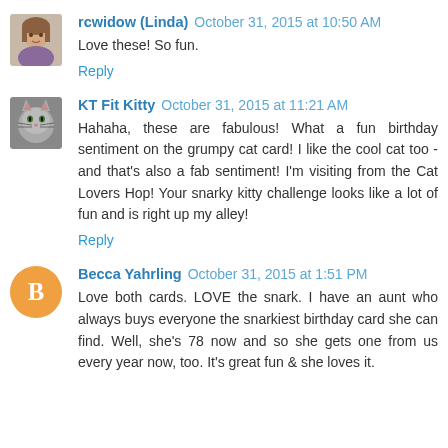[Figure (photo): Avatar photo of rcwidow Linda - woman's face]
rcwidow (Linda) October 31, 2015 at 10:50 AM
Love these! So fun.
Reply
[Figure (photo): Avatar photo of KT Fit Kitty - cat face]
KT Fit Kitty October 31, 2015 at 11:21 AM
Hahaha, these are fabulous! What a fun birthday sentiment on the grumpy cat card! I like the cool cat too - and that's also a fab sentiment! I'm visiting from the Cat Lovers Hop! Your snarky kitty challenge looks like a lot of fun and is right up my alley!
Reply
[Figure (logo): Blogger B icon circle orange avatar for Becca Yahrling]
Becca Yahrling October 31, 2015 at 1:51 PM
Love both cards. LOVE the snark. I have an aunt who always buys everyone the snarkiest birthday card she can find. Well, she's 78 now and so she gets one from us every year now, too. It's great fun & she loves it.